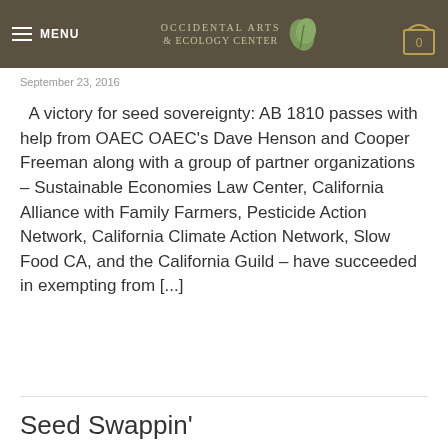MENU | OCCIDENTAL ARTS & ECOLOGY CENTER | 0
September 23, 2016
A victory for seed sovereignty:  AB 1810 passes with help from OAEC OAEC's Dave Henson and Cooper Freeman along with a group of partner organizations – Sustainable Economies Law Center, California Alliance with Family Farmers, Pesticide Action Network, California Climate Action Network, Slow Food CA, and the California Guild – have succeeded in exempting from [...]
Seed Swappin'